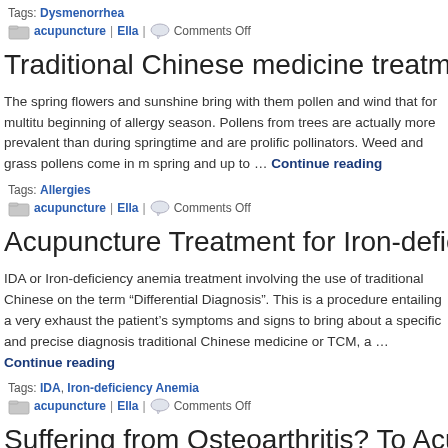Tags: Dysmenorrhea
acupuncture | Ella | Comments Off
Traditional Chinese medicine treatment for all
The spring flowers and sunshine bring with them pollen and wind that for multitu beginning of allergy season. Pollens from trees are actually more prevalent than during springtime and are prolific pollinators. Weed and grass pollens come in m spring and up to … Continue reading
Tags: Allergies
acupuncture | Ella | Comments Off
Acupuncture Treatment for Iron-deficiency An
IDA or Iron-deficiency anemia treatment involving the use of traditional Chinese on the term "Differential Diagnosis". This is a procedure entailing a very exhaust the patient's symptoms and signs to bring about a specific and precise diagnosis traditional Chinese medicine or TCM, a … Continue reading
Tags: IDA, Iron-deficiency Anemia
acupuncture | Ella | Comments Off
Suffering from Osteoarthritis? To Acu...